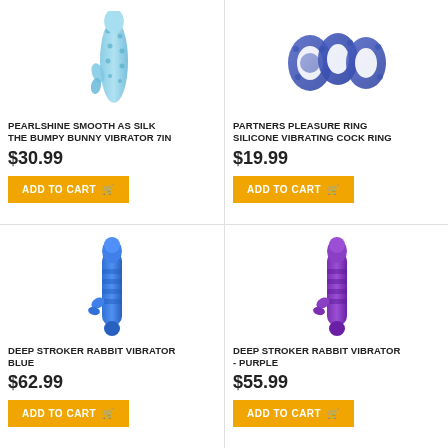[Figure (photo): Blue pearlshine bumpy bunny vibrator product photo]
PEARLSHINE SMOOTH AS SILK THE BUMPY BUNNY VIBRATOR 7IN
$30.99
ADD TO CART
[Figure (photo): Partners pleasure ring silicone vibrating cock ring product photo]
PARTNERS PLEASURE RING SILICONE VIBRATING COCK RING
$19.99
ADD TO CART
[Figure (photo): Deep stroker rabbit vibrator blue product photo]
DEEP STROKER RABBIT VIBRATOR BLUE
$62.99
ADD TO CART
[Figure (photo): Deep stroker rabbit vibrator purple product photo]
DEEP STROKER RABBIT VIBRATOR - PURPLE
$55.99
ADD TO CART